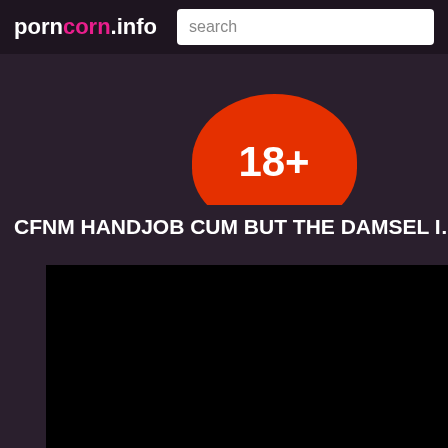porn corn.info
CFNM HANDJOB CUM BUT THE DAMSEL I...
[Figure (screenshot): Black video player area]